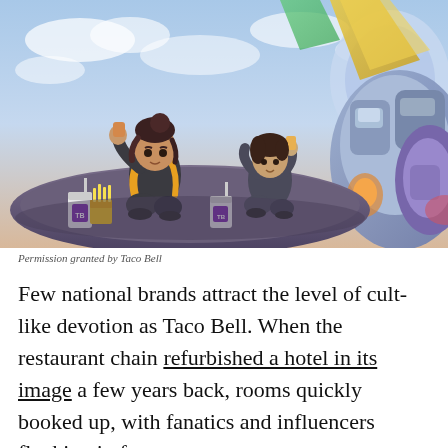[Figure (illustration): Anime-style illustration of two characters sitting atop a large robot/mech, eating Taco Bell food with cups and a bag of fries. Colorful sci-fi background with blue sky and large mechanical figure in the foreground right.]
Permission granted by Taco Bell
Few national brands attract the level of cult-like devotion as Taco Bell. When the restaurant chain refurbished a hotel in its image a few years back, rooms quickly booked up, with fanatics and influencers flocking in from